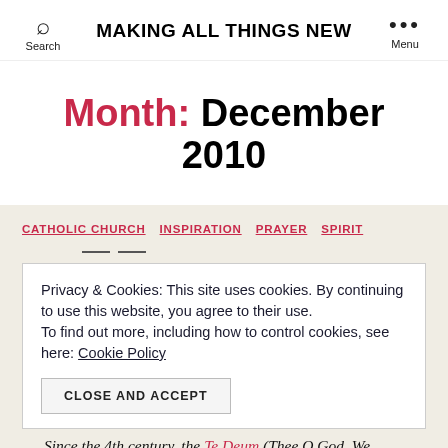Search | MAKING ALL THINGS NEW | Menu
Month: December 2010
CATHOLIC CHURCH  INSPIRATION  PRAYER  SPIRIT
Privacy & Cookies: This site uses cookies. By continuing to use this website, you agree to their use. To find out more, including how to control cookies, see here: Cookie Policy
CLOSE AND ACCEPT
Since the 4th century, the Te Deum (Thee O God, We